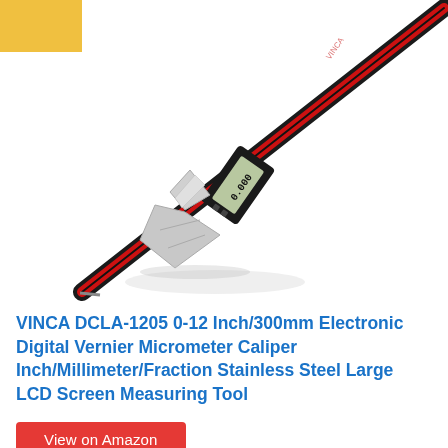[Figure (photo): A digital vernier caliper with a red and black striped body, angled diagonally from lower-left to upper-right, with silver jaws and a digital LCD display in the middle.]
VINCA DCLA-1205 0-12 Inch/300mm Electronic Digital Vernier Micrometer Caliper Inch/Millimeter/Fraction Stainless Steel Large LCD Screen Measuring Tool
View on Amazon